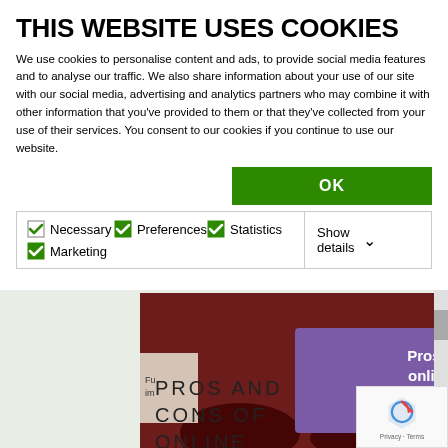THIS WEBSITE USES COOKIES
We use cookies to personalise content and ads, to provide social media features and to analyse our traffic. We also share information about your use of our site with our social media, advertising and analytics partners who may combine it with other information that you've provided to them or that they've collected from your use of their services. You consent to our cookies if you continue to use our website.
OK
Necessary  Preferences  Statistics  Marketing  Show details
[Figure (screenshot): Thumbnail image for article 'Pros and cons of online events for medical conferences' showing a conference audience with a purple overlay text box and a 'Fragen zum Thema?' question icon]
PROS AND CONS OF ONLINE EVENTS FOR MEDICAL CONFERENCES